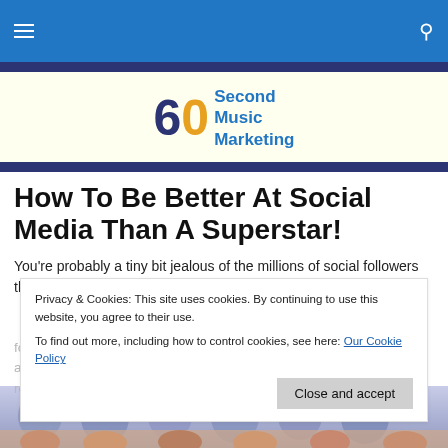60 Second Music Marketing
[Figure (logo): 60 Second Music Marketing logo with stylized '60' and blue text]
How To Be Better At Social Media Than A Superstar!
You're probably a tiny bit jealous of the millions of social followers that superstar musicians and singers have acquired. With a little encouragement to remind you can be better than them on social networks...
Privacy & Cookies: This site uses cookies. By continuing to use this website, you agree to their use.
To find out more, including how to control cookies, see here: Our Cookie Policy
[Figure (photo): Row of people's faces/headshots at the bottom of the page]